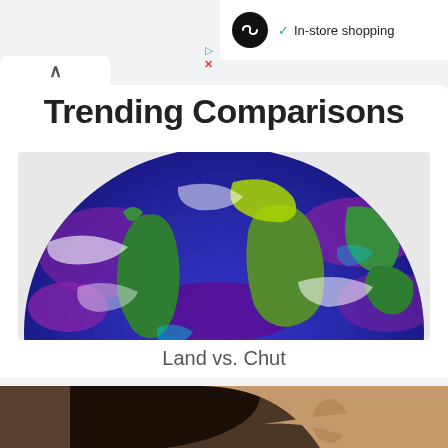[Figure (screenshot): Ad panel with infinity-loop logo icon and 'In-store shopping' text with teal checkmark, plus play and close (X) ad controls]
Trending Comparisons
[Figure (photo): Satellite/scientific visualization of Earth showing a half-globe view with colorful surface data overlay — blue oceans, green and yellow landmasses (Americas visible on left, other continents on right), purple and white swirling patterns indicating atmospheric or ocean data]
Land vs. Chut
[Figure (photo): Partial face/portrait photo at the bottom of the page — shows the side profile of a person with dark curly hair and the side of their face with ear visible]